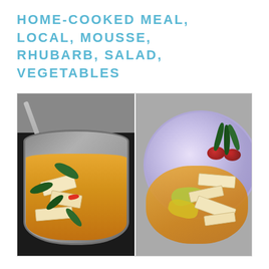HOME-COOKED MEAL, LOCAL, MOUSSE, RHUBARB, SALAD, VEGETABLES
[Figure (photo): Two side-by-side food photos: left shows a cooking pot with tofu, spinach leaves, red chili, and yellow curry sauce being stirred with a spatula on a dark stovetop; right shows a plated dish on a floral bowl featuring tofu slices, yellow curry, green vegetables, roasted cherry tomatoes, and fresh herb leaves.]